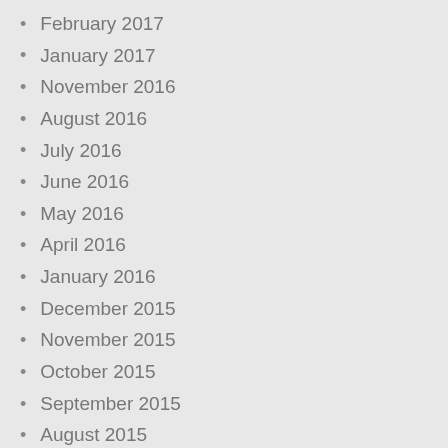February 2017
January 2017
November 2016
August 2016
July 2016
June 2016
May 2016
April 2016
January 2016
December 2015
November 2015
October 2015
September 2015
August 2015
July 2015
June 2015
May 2015
April 2015